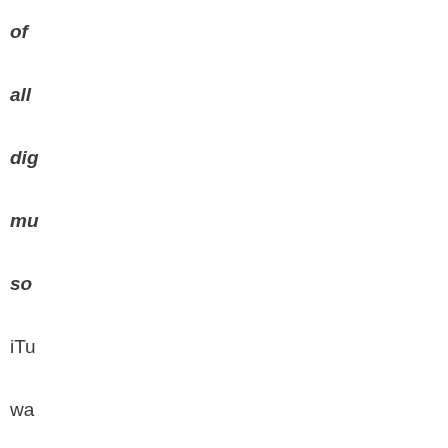of alldig mu so iTunes wa the big pa but the we als oth leg onl al